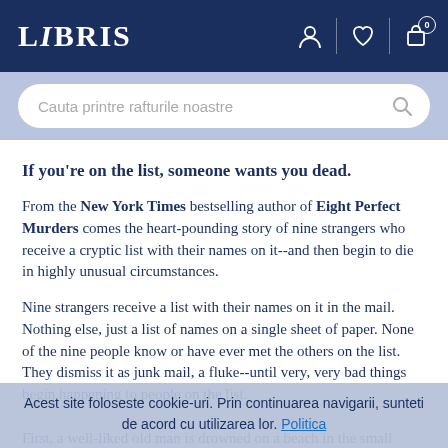LIBRIS
[Figure (screenshot): Search bar with placeholder text 'Cauta printre rafturile noastre' on light blue background]
If you're on the list, someone wants you dead.
From the New York Times bestselling author of Eight Perfect Murders comes the heart-pounding story of nine strangers who receive a cryptic list with their names on it--and then begin to die in highly unusual circumstances.
Nine strangers receive a list with their names on it in the mail. Nothing else, just a list of names on a single sheet of paper. None of the nine people know or have ever met the others on the list. They dismiss it as junk mail, a fluke--until very, very bad things begin happening to people on the list.
First, a well-liked old man is drowned on a beach in the small
Acest site foloseste cookie-uri. Prin continuarea navigarii, sunteti de acord cu utilizarea lor. Politica